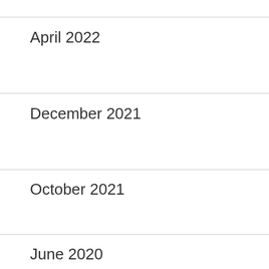April 2022
December 2021
October 2021
June 2020